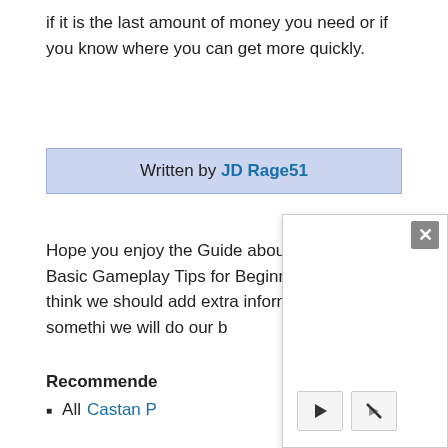if it is the last amount of money you need or if you know where you can get more quickly.
Written by JD Rage51
Hope you enjoy the Guide about Castan – Basic Gameplay Tips for Beginners, if you think we should add extra information or forget somethi... we will do our b...
Recommended
All Castan P...
[Figure (screenshot): A video player popup overlay in the lower right of the page, with a close button (X) in the top right corner, a play button and mute button in the bottom left of the overlay.]